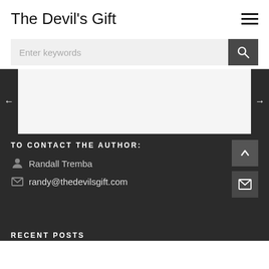The Devil's Gift
Enter keywords
TO CONTACT THE AUTHOR:
Randall Tremba
randy@thedevilsgift.com
RECENT POSTS